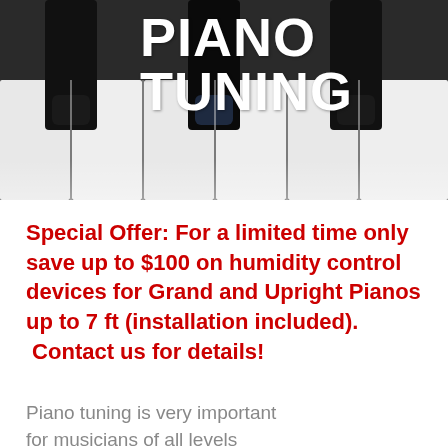[Figure (photo): Close-up photo of black and white piano keys viewed from above, with three black keys prominently visible against white keys, dark background.]
PIANO TUNING
Special Offer: For a limited time only save up to $100 on humidity control devices for Grand and Upright Pianos up to 7 ft (installation included). Contact us for details!
Piano tuning is very important for musicians of all levels